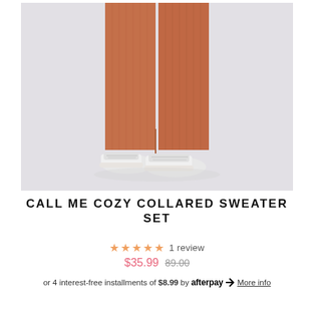[Figure (photo): Lower body of a model wearing a rust/terracotta ribbed knit wide-leg pants with a side slit, paired with white Converse sneakers, on a light grey background]
CALL ME COZY COLLARED SWEATER SET
★★★★★ 1 review
$35.99  $89.00
or 4 interest-free installments of $8.99 by afterpay More info